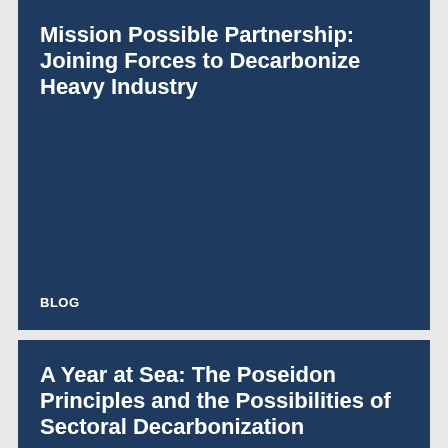Mission Possible Partnership: Joining Forces to Decarbonize Heavy Industry
BLOG
A Year at Sea: The Poseidon Principles and the Possibilities of Sectoral Decarbonization